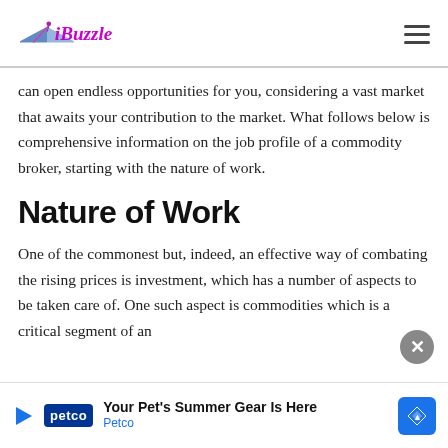iBuzzle
can open endless opportunities for you, considering a vast market that awaits your contribution to the market. What follows below is comprehensive information on the job profile of a commodity broker, starting with the nature of work.
Nature of Work
One of the commonest but, indeed, an effective way of combating the rising prices is investment, which has a number of aspects to be taken care of. One such aspect is commodities which is a critical segment of an investor's investment process and hence, with the
[Figure (other): Advertisement banner: Petco - Your Pet's Summer Gear Is Here, with Petco logo and navigation icon]